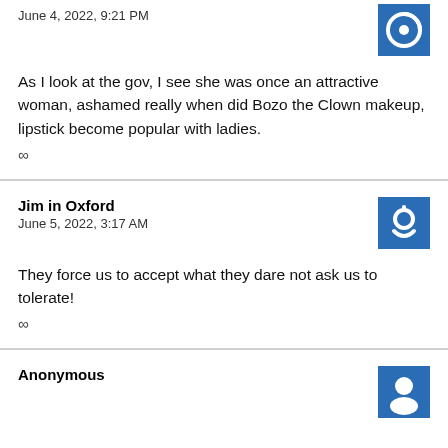June 4, 2022, 9:21 PM
[Figure (illustration): Blue square avatar with white circular power/update icon]
As I look at the gov, I see she was once an attractive woman, ashamed really when did Bozo the Clown makeup, lipstick become popular with ladies.
∞
Jim in Oxford
June 5, 2022, 3:17 AM
[Figure (illustration): Blue square avatar with white circular power icon]
They force us to accept what they dare not ask us to tolerate!
∞
Anonymous
[Figure (illustration): Blue square avatar with white icon, partially visible]